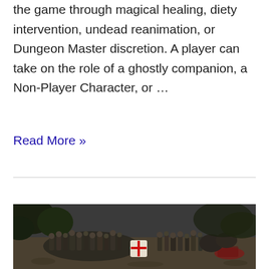the game through magical healing, diety intervention, undead reanimation, or Dungeon Master discretion. A player can take on the role of a ghostly companion, a Non-Player Character, or …
Read More »
[Figure (screenshot): A screenshot of a medieval battle scene video game showing armored soldiers fighting in a forested area, some with shields bearing a red cross emblem.]